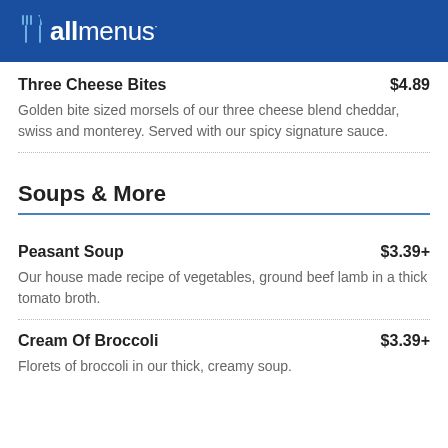allmenus
Three Cheese Bites
$4.89
Golden bite sized morsels of our three cheese blend cheddar, swiss and monterey. Served with our spicy signature sauce.
Soups & More
Peasant Soup
$3.39+
Our house made recipe of vegetables, ground beef lamb in a thick tomato broth.
Cream Of Broccoli
$3.39+
Florets of broccoli in our thick, creamy soup.